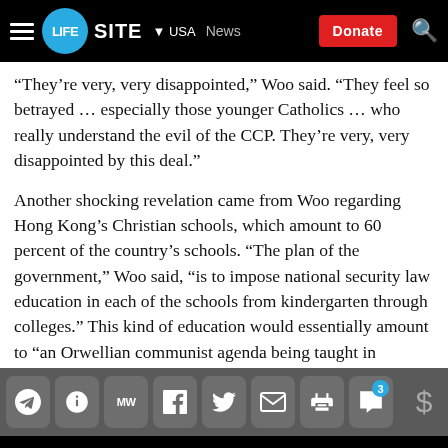[Figure (screenshot): LifeSite News website navigation bar with hamburger menu, LifeSite logo in blue circle, USA and News navigation links, red Donate button, and search icon]
“They’re very, very disappointed,” Woo said. “They feel so betrayed … especially those younger Catholics … who really understand the evil of the CCP. They’re very, very disappointed by this deal.”
Another shocking revelation came from Woo regarding Hong Kong’s Christian schools, which amount to 60 percent of the country’s schools. “The plan of the government,” Woo said, “is to impose national security law education in each of the schools from kindergarten through colleges.” This kind of education would essentially amount to “an Orwellian communist agenda being taught in schools,” Woo said. Because of the potential for reporting and arrest for those who say communism is evil, 5,000 teachers
[Figure (screenshot): Social media sharing toolbar with icons for Telegram, Gettr, MeWe, Facebook, Twitter, Email, Print, Comments (badge showing 3), and Dollar sign]